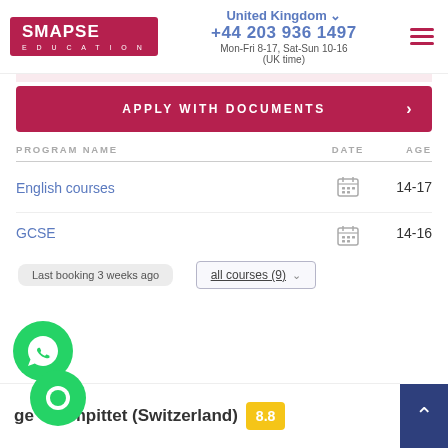SMAPSE EDUCATION | United Kingdom | +44 203 936 1497 | Mon-Fri 8-17, Sat-Sun 10-16 (UK time)
APPLY WITH DOCUMENTS
| PROGRAM NAME | DATE | AGE |
| --- | --- | --- |
| English courses |  | 14-17 |
| GCSE |  | 14-16 |
Last booking 3 weeks ago
all courses (9)
ge Champittet (Switzerland)
8.8